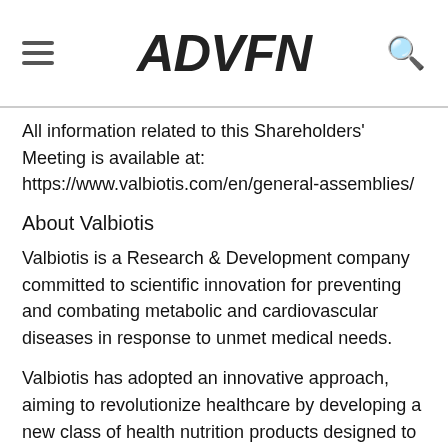ADVFN
All information related to this Shareholders' Meeting is available at: https://www.valbiotis.com/en/general-assemblies/
About Valbiotis
Valbiotis is a Research & Development company committed to scientific innovation for preventing and combating metabolic and cardiovascular diseases in response to unmet medical needs.
Valbiotis has adopted an innovative approach, aiming to revolutionize healthcare by developing a new class of health nutrition products designed to reduce the risk of major metabolic diseases, relying on a multi-target strategy enabled by the use of plant-based terrestrial and marine resources.